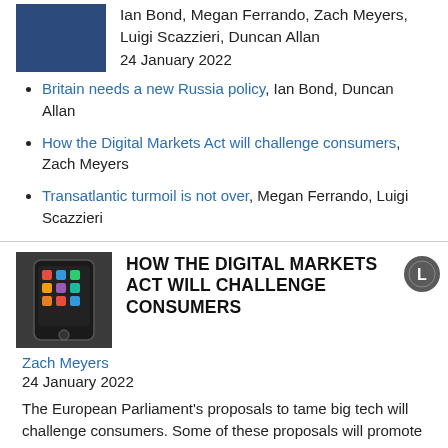Ian Bond, Megan Ferrando, Zach Meyers, Luigi Scazzieri, Duncan Allan
24 January 2022
Britain needs a new Russia policy, Ian Bond, Duncan Allan
How the Digital Markets Act will challenge consumers, Zach Meyers
Transatlantic turmoil is not over, Megan Ferrando, Luigi Scazzieri
HOW THE DIGITAL MARKETS ACT WILL CHALLENGE CONSUMERS
Zach Meyers
24 January 2022
The European Parliament's proposals to tame big tech will challenge consumers. Some of these proposals will promote innovation – but lawmakers should drop proposals which will stifle it.